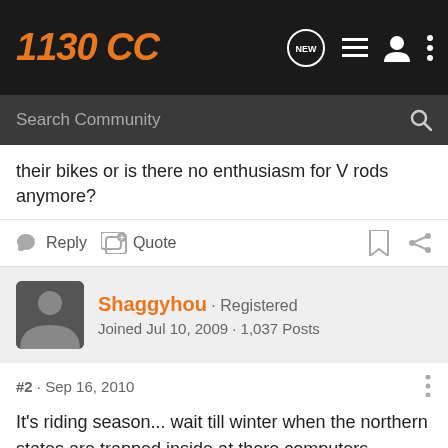[Figure (logo): 1130CC forum logo in orange italic bold text on dark background, with navigation icons (NEW chat bubble, list, person, dots) on the right]
[Figure (screenshot): Search Community bar with magnifying glass icon on dark background]
their bikes or is there no enthusiasm for V rods anymore?
Reply   Quote
Shaggyhou · Registered
Joined Jul 10, 2009 · 1,037 Posts
#2 · Sep 16, 2010
It's riding season... wait till winter when the northern states are trapped inside at there computers....